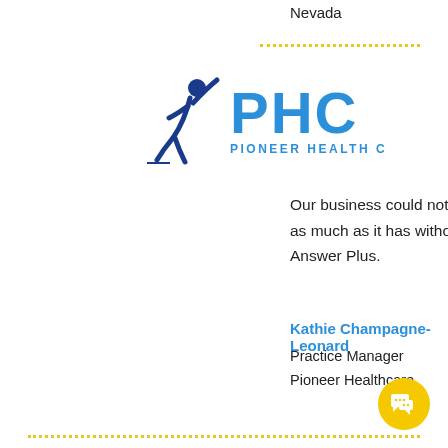Nevada
[Figure (logo): PHC Pioneer Health Care logo — blue stylized human figure and 'PHC' text with 'PIONEER HEALTH CARE' below]
Our business could not have grown as much as it has without the help of Answer Plus.
Kathie Champagne-Leonard
Practice Manager
Pioneer Healthcare